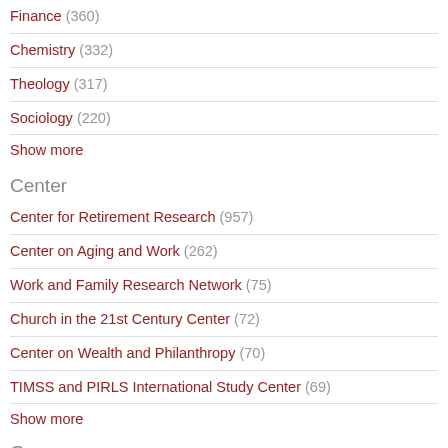Finance (360)
Chemistry (332)
Theology (317)
Sociology (220)
Show more
Center
Center for Retirement Research (957)
Center on Aging and Work (262)
Work and Family Research Network (75)
Church in the 21st Century Center (72)
Center on Wealth and Philanthropy (70)
TIMSS and PIRLS International Study Center (69)
Show more
Genre
thesis (3164)
working paper (1187)